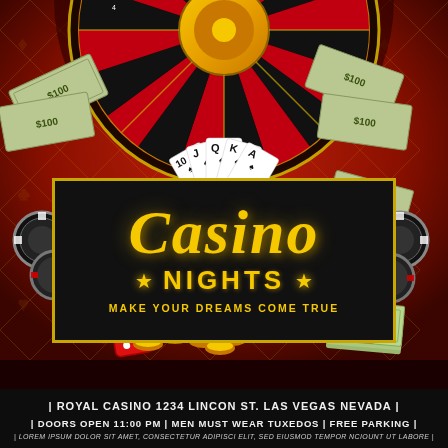[Figure (illustration): Casino night promotional flyer illustration featuring a roulette wheel, playing cards (10, J, Q, K, A of spades), casino chips, dice, dollar bills/cash stacks, and gold coins on a red patterned background with gold diamond shapes]
Casino
NIGHTS
MAKE YOUR DREAMS COME TRUE
| ROYAL CASINO 1234 LINCON ST. LAS VEGAS NEVADA |
| DOORS OPEN 11:00 PM | MEN MUST WEAR TUXEDOS | FREE PARKING |
| LOREM IPSUM DOLOR SIT AMET, CONSECTETUR ADIPISCI ELIT, SED EIUSMOD TEMPOR NCIOUNT UT LABORE |